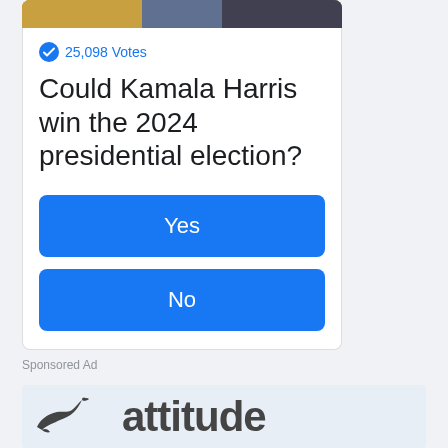[Figure (photo): Photo strip at top of poll card showing people in suits]
25,098 Votes
Could Kamala Harris win the 2024 presidential election?
Yes
No
Sponsored Ad
[Figure (logo): Jaguar leaping cat logo and 'attitude' brand text on light blue background]